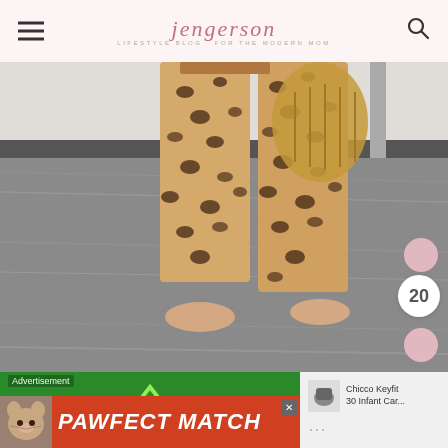jengerson — LIFESTYLE BLOG FOR THE MODERN MOM
[Figure (photo): Lower body of a person wearing leopard print wide-leg pants and carrying a woven basket bag, standing barefoot on a grey textured rug near a door. Number badge showing '20' visible on the right side.]
[Figure (screenshot): Green advertisement banner with a warning triangle icon, overlaid with a red 'PAWFECT MATCH' banner featuring a cat photo. A side panel shows a Chicco Keyfit 30 Infant Car Seat product listing.]